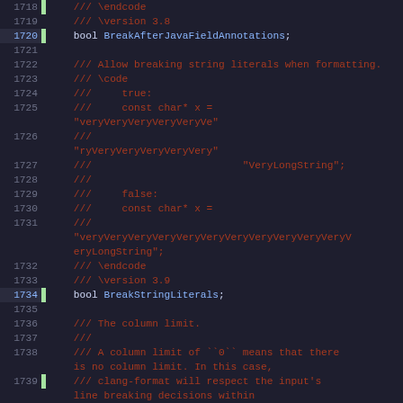[Figure (screenshot): Source code viewer showing C++ header file lines 1718-1744 with line numbers, green gutter indicators, commented documentation and bool/unsigned variable declarations with syntax highlighting]